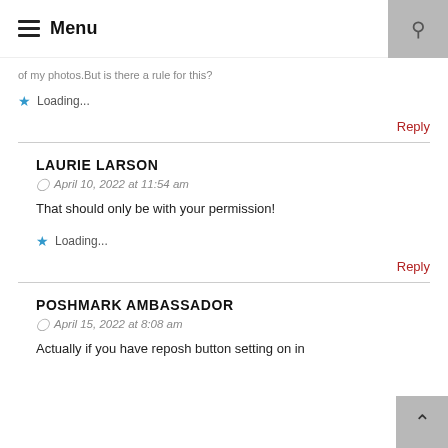Menu
of my photos.But is there a rule for this?
Loading...
Reply
LAURIE LARSON
April 10, 2022 at 11:54 am
That should only be with your permission!
Loading...
Reply
POSHMARK AMBASSADOR
April 15, 2022 at 8:08 am
Actually if you have reposh button setting on in